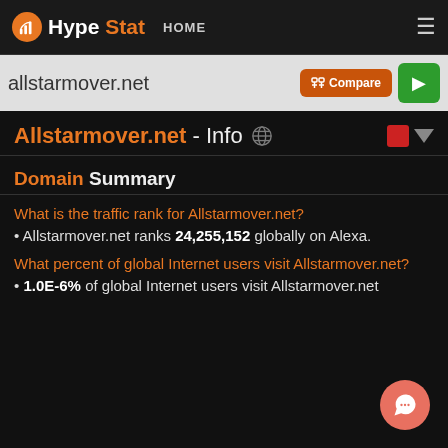HypeStat HOME ≡
allstartmover.net Compare ▶
Allstarmover.net - Info
Domain Summary
What is the traffic rank for Allstarmover.net?
Allstarmover.net ranks 24,255,152 globally on Alexa.
What percent of global Internet users visit Allstarmover.net?
1.0E-6% of global Internet users visit Allstarmover.net